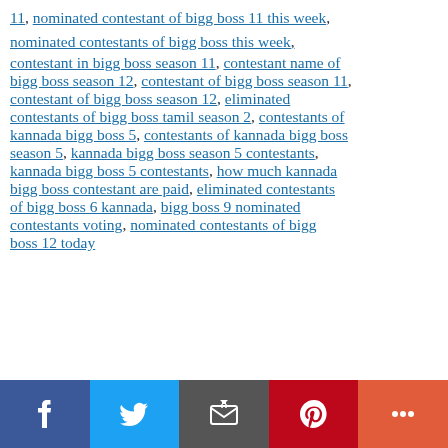11, nominated contestant of bigg boss 11 this week, nominated contestants of bigg boss this week, contestant in bigg boss season 11, contestant name of bigg boss season 12, contestant of bigg boss season 11, contestant of bigg boss season 12, eliminated contestants of bigg boss tamil season 2, contestants of kannada bigg boss 5, contestants of kannada bigg boss season 5, kannada bigg boss season 5 contestants, kannada bigg boss 5 contestants, how much kannada bigg boss contestant are paid, eliminated contestants of bigg boss 6 kannada, bigg boss 9 nominated contestants voting, nominated contestants of bigg boss 12 today
[Figure (other): Advertisement banner (gray box with close X button)]
[Figure (infographic): Social sharing bar with Facebook, Twitter, Email, Pinterest, and More buttons]